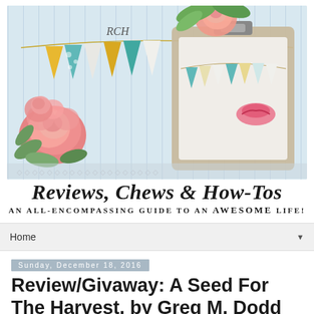[Figure (illustration): Blog header banner for 'Reviews, Chews & How-Tos' featuring decorative bunting/pennants in teal, yellow, and white, a clipboard with lipstick mark, pink roses, green leaves, and monogram 'RCH' on a blue striped background]
Reviews, Chews & How-Tos
An all-encompassing guide to an AWESOME life!
Home ▼
Sunday, December 18, 2016
Review/Givaway: A Seed For The Harvest, by Greg M. Dodd